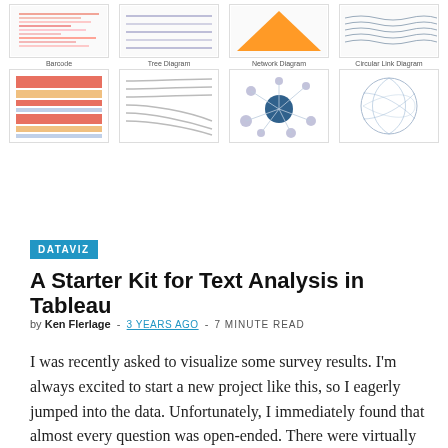[Figure (screenshot): Grid of chart thumbnails: top row shows Barcode, Tree Diagram, Network Diagram, Circular Link Diagram chart previews with labels; bottom row shows colored barcode, curved tree/flow, network bubble, and circular link diagrams.]
Barcode   Tree Diagram   Network Diagram   Circular Link Diagram
DATAVIZ
A Starter Kit for Text Analysis in Tableau
by Ken Flerlage  -  3 YEARS AGO  -  7 MINUTE READ
I was recently asked to visualize some survey results. I'm always excited to start a new project like this, so I eagerly jumped into the data. Unfortunately, I immediately found that almost every question was open-ended. There were virtually no multiple choice or numeric-answer questions at all. Thus, analyzing this data would require something a bit more qualitative than